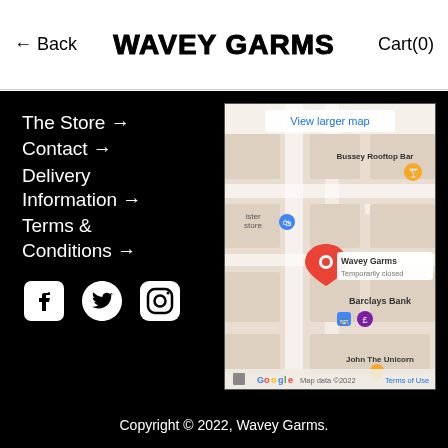← Back   WAVEY GARMS   Cart(0)
The Store →
Contact →
Delivery Information →
Terms & Conditions →
[Figure (screenshot): Google Maps screenshot showing Wavey Garms location marked as Temporarily closed, with nearby landmarks: Bussey Rooftop Bar, Barclays Bank, John The Unicorn. Shows 'View larger map' link and Map data ©2022 Terms of Use.]
Copyright © 2022, Wavey Garms.